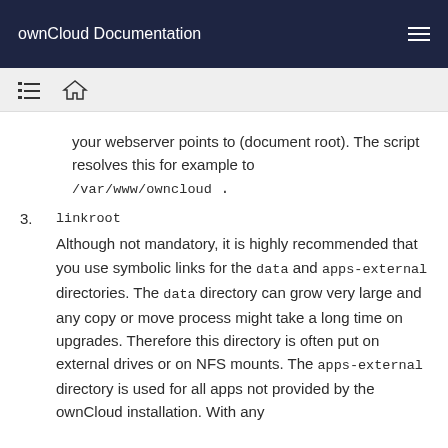ownCloud Documentation
your webserver points to (document root). The script resolves this for example to /var/www/owncloud .
3. linkroot
Although not mandatory, it is highly recommended that you use symbolic links for the data and apps-external directories. The data directory can grow very large and any copy or move process might take a long time on upgrades. Therefore this directory is often put on external drives or on NFS mounts. The apps-external directory is used for all apps not provided by the ownCloud installation. With any